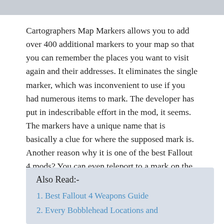Cartographers Map Markers allows you to add over 400 additional markers to your map so that you can remember the places you want to visit again and their addresses. It eliminates the single marker, which was inconvenient to use if you had numerous items to mark. The developer has put in indescribable effort in the mod, it seems. The markers have a unique name that is basically a clue for where the supposed mark is. Another reason why it is one of the best Fallout 4 mods? You can even teleport to a mark on the map!
Also Read:-
Best Fallout 4 Weapons Guide
Every Bobblehead Locations and